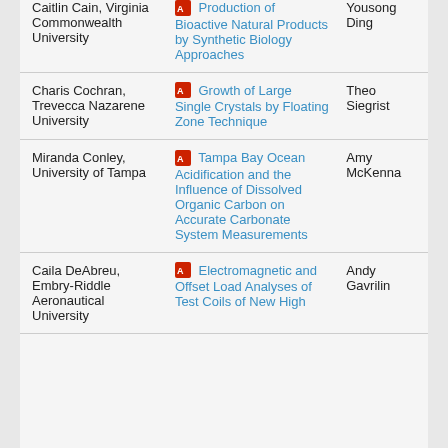| Student/Affiliation | Project | Mentor |
| --- | --- | --- |
| Caitlin Cain, Virginia Commonwealth University | Production of Bioactive Natural Products by Synthetic Biology Approaches | Yousong Ding |
| Charis Cochran, Trevecca Nazarene University | Growth of Large Single Crystals by Floating Zone Technique | Theo Siegrist |
| Miranda Conley, University of Tampa | Tampa Bay Ocean Acidification and the Influence of Dissolved Organic Carbon on Accurate Carbonate System Measurements | Amy McKenna |
| Caila DeAbreu, Embry-Riddle Aeronautical University | Electromagnetic and Offset Load Analyses of Test Coils of New High ... | Andy Gavrilin |